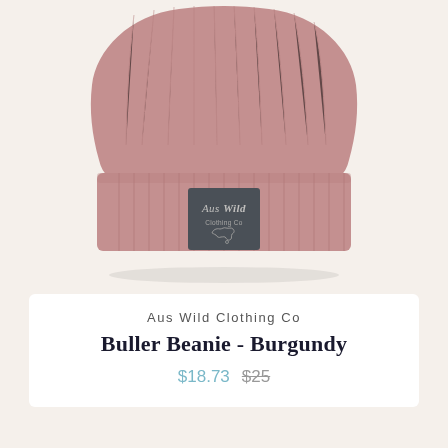[Figure (photo): A dusty rose/mauve ribbed knit beanie hat with a folded cuff, featuring a dark grey square patch label with 'Aus Wild Clothing Co' text and an outline of Australia, photographed on a light beige background.]
Aus Wild Clothing Co
Buller Beanie - Burgundy
$18.73  $25